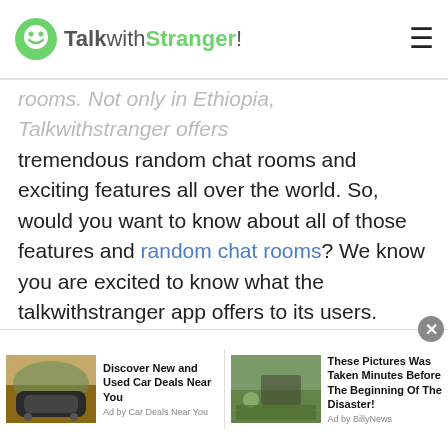TalkwithStranger!
rooms. Not only in Ethiopia, Talkwithstranger offers tremendous random chat rooms and exciting features all over the world. So, would you want to know about all of those features and random chat rooms? We know you are excited to know what the talkwithstranger app offers to its users.
Let's reveal how talking to strangers in Ethiopia is easy, fun and convenient.
Online random chat rooms without any registration
[Figure (screenshot): Advertisement bar at the bottom with two ad units: 'Discover New and Used Car Deals Near You' by Car Deals Near You, and 'These Pictures Was Taken Minutes Before The Beginning Of The Disaster!' by BillyNews. Close button in top right.]